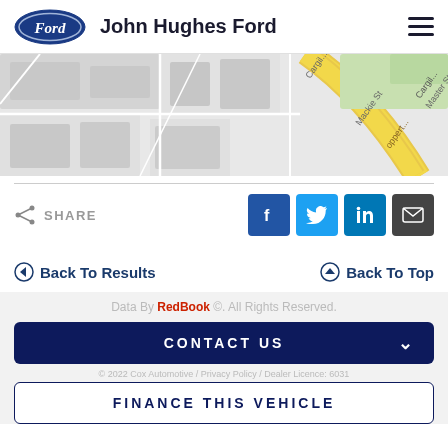John Hughes Ford
[Figure (map): Street map showing Cargill St, Mackie St, Master St and nearby roads with a yellow highway highlighted]
SHARE
[Figure (infographic): Social share buttons: Facebook, Twitter, LinkedIn, Email]
Back To Results
Back To Top
Data By RedBook ©. All Rights Reserved.
CONTACT US
© 2022 Cox Automotive / Privacy Policy / Dealer Licence: 6031
FINANCE THIS VEHICLE